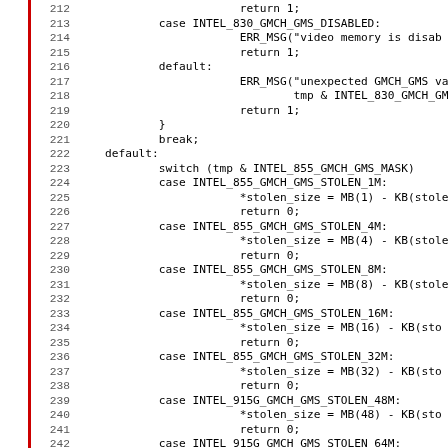[Figure (other): Source code listing showing C code with line numbers 212-243, featuring switch/case statements handling Intel GMCH GMS memory configurations]